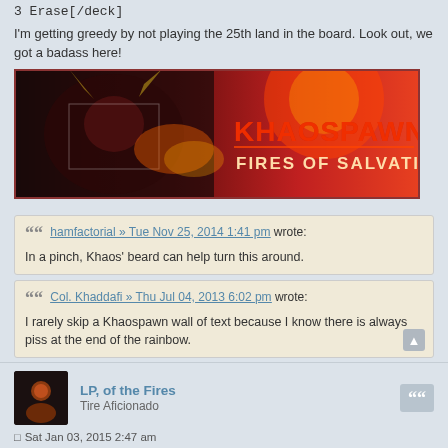3 Erase[/deck]
I'm getting greedy by not playing the 25th land in the board. Look out, we got a badass here!
[Figure (illustration): Khaospawn: Fires of Salvation banner image showing a horned demon creature with fire and red background, with text 'KHAOSPAWN FIRES OF SALVATION']
hamfactorial » Tue Nov 25, 2014 1:41 pm wrote: In a pinch, Khaos' beard can help turn this around.
Col. Khaddafi » Thu Jul 04, 2013 6:02 pm wrote: I rarely skip a Khaospawn wall of text because I know there is always piss at the end of the rainbow.
LP, of the Fires
Tire Aficionado
Sat Jan 03, 2015 2:47 am